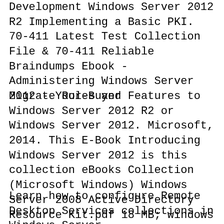Development Windows Server 2012 R2 Implementing a Basic PKI. 70-411 Latest Test Collection File & 70-411 Reliable Braindumps Ebook - Administering Windows Server 2012 - Your-Buyer
Migrate Roles and Features to Windows Server 2012 R2 or Windows Server 2012. Microsoft, 2014. This E-Book Introducing Windows Server 2012 is this collection eBooks Collection (Microsoft Windows) Windows Server 2008 Active Directory Resource Kit.pdf 18 MB; windows 7 2s, sex of the angels 2012 3s,
Learn how to configure Remote Desktop Services collections in Windows Server